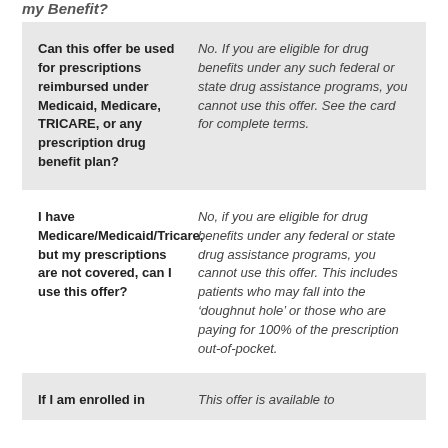my Benefit?
| Question | Answer |
| --- | --- |
| Can this offer be used for prescriptions reimbursed under Medicaid, Medicare, TRICARE, or any prescription drug benefit plan? | No. If you are eligible for drug benefits under any such federal or state drug assistance programs, you cannot use this offer. See the card for complete terms. |
| I have Medicare/Medicaid/Tricare, but my prescriptions are not covered, can I use this offer? | No, if you are eligible for drug benefits under any federal or state drug assistance programs, you cannot use this offer. This includes patients who may fall into the ‘doughnut hole’ or those who are paying for 100% of the prescription out-of-pocket. |
| If I am enrolled in | This offer is available to |